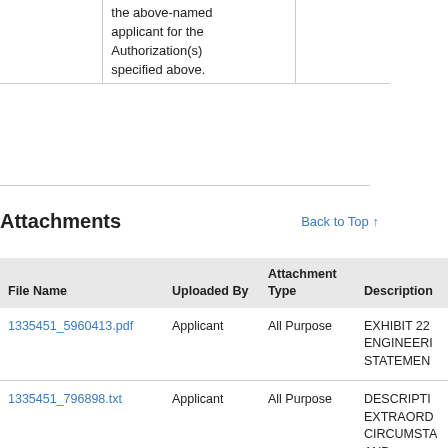|  |  |  |
| --- | --- | --- |
|  | the above-named applicant for the Authorization(s) specified above. |  |
Attachments
Back to Top ↑
| File Name | Uploaded By | Attachment Type | Description |
| --- | --- | --- | --- |
| 1335451_5960413.pdf | Applicant | All Purpose | EXHIBIT 22 ENGINEERING STATEMENT |
| 1335451_796898.txt | Applicant | All Purpose | DESCRIPTION EXTRAORDINARY CIRCUMSTANCES AND ENGINEERING STATEMENT |